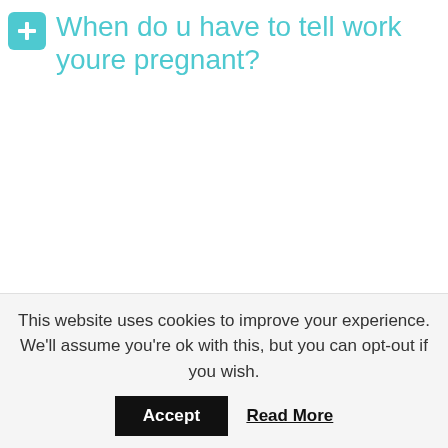When do u have to tell work youre pregnant?
You are not required to tell your employer that you are pregnant, and you cannot be fired or reassigned for being pregnant. But you can be fired or reassigned for a legitimate reason unrelated to your pregnancy.
Can my boss ask me if I am pregnant?
This website uses cookies to improve your experience. We'll assume you're ok with this, but you can opt-out if you wish.